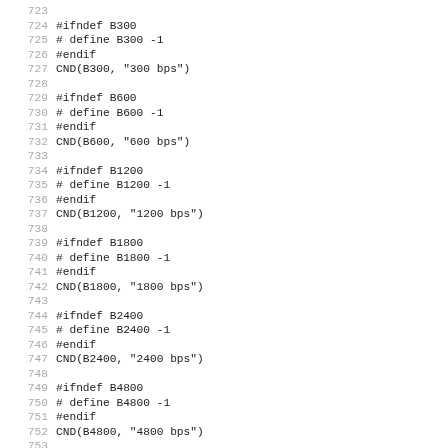Code listing lines 723-754, C preprocessor macros for baud rate definitions: #ifndef B300, # define B300 -1, #endif, CND(B300, "300 bps"), #ifndef B600, # define B600 -1, #endif, CND(B600, "600 bps"), #ifndef B1200, # define B1200 -1, #endif, CND(B1200, "1200 bps"), #ifndef B1800, # define B1800 -1, #endif, CND(B1800, "1800 bps"), #ifndef B2400, # define B2400 -1, #endif, CND(B2400, "2400 bps"), #ifndef B4800, # define B4800 -1, #endif, CND(B4800, "4800 bps"), #ifndef B9600